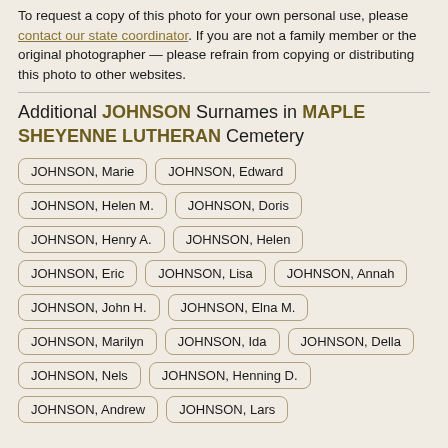To request a copy of this photo for your own personal use, please contact our state coordinator. If you are not a family member or the original photographer — please refrain from copying or distributing this photo to other websites.
Additional JOHNSON Surnames in MAPLE SHEYENNE LUTHERAN Cemetery
JOHNSON, Marie
JOHNSON, Edward
JOHNSON, Helen M.
JOHNSON, Doris
JOHNSON, Henry A.
JOHNSON, Helen
JOHNSON, Eric
JOHNSON, Lisa
JOHNSON, Annah
JOHNSON, John H.
JOHNSON, Elna M.
JOHNSON, Marilyn
JOHNSON, Ida
JOHNSON, Della
JOHNSON, Nels
JOHNSON, Henning D.
JOHNSON, Andrew
JOHNSON, Lars